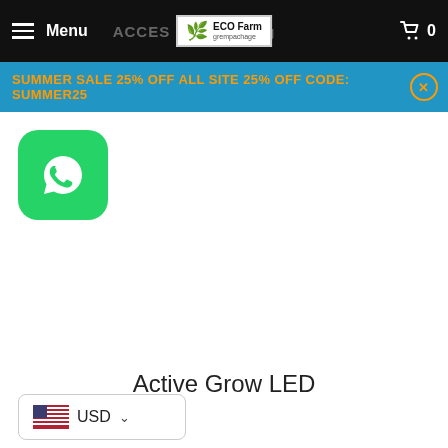Menu | ECO Farm | ACCESSORIES Netting | Cart 0
SUMMER SALE 25% OFF ALL SITE 25% OFF CODE: SUMMER25
[Figure (logo): WhatsApp green icon with phone handset]
Active Grow LED
USD (currency selector with US flag)